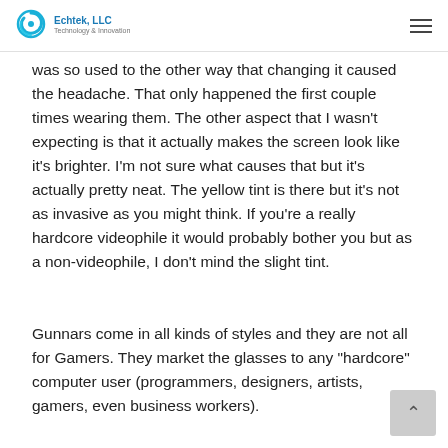Echtek, LLC
was so used to the other way that changing it caused the headache.  That only happened the first couple times wearing them.  The other aspect that I wasn't expecting is that it actually makes the screen look like it's brighter.  I'm not sure what causes that but it's actually pretty neat.  The yellow tint is there but it's not as invasive as you might think.  If you're a really hardcore videophile it would probably bother you but as a non-videophile, I don't mind the slight tint.
Gunnars come in all kinds of styles and they are not all for Gamers.  They market the glasses to any "hardcore" computer user (programmers, designers, artists, gamers, even business workers).